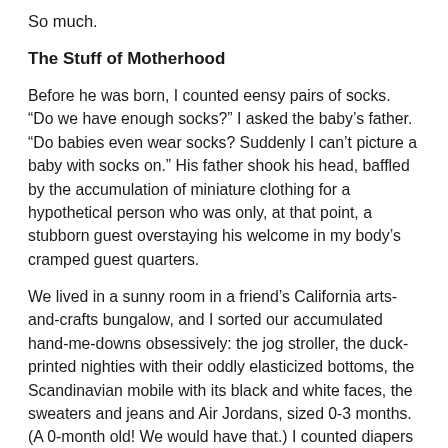So much.
The Stuff of Motherhood
Before he was born, I counted eensy pairs of socks. “Do we have enough socks?” I asked the baby’s father. “Do babies even wear socks? Suddenly I can’t picture a baby with socks on.” His father shook his head, baffled by the accumulation of miniature clothing for a hypothetical person who was only, at that point, a stubborn guest overstaying his welcome in my body’s cramped guest quarters.
We lived in a sunny room in a friend’s California arts-and-crafts bungalow, and I sorted our accumulated hand-me-downs obsessively: the jog stroller, the duck-printed nighties with their oddly elasticized bottoms, the Scandinavian mobile with its black and white faces, the sweaters and jeans and Air Jordans, sized 0-3 months. (A 0-month old! We would have that.) I counted diapers and washcloths, hooded towels and snap-crotch onesies and crib sheets. I inspected the breast pump, which appeared to have been designed by a sadist who gave up sadism for engineering but then still